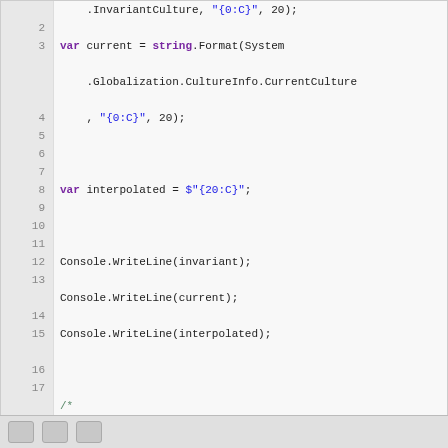[Figure (screenshot): Code editor screenshot showing C# code with line numbers 2-22. The code demonstrates string formatting using InvariantCulture, CurrentCulture, interpolated strings, Console.WriteLine calls, and a commented-out InJapaneseCulture method.]